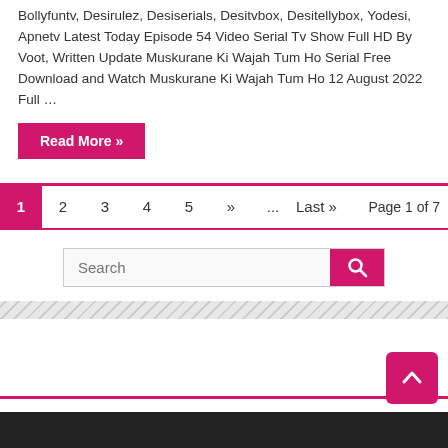Bollyfuntv, Desirulez, Desiserials, Desitvbox, Desitellybox, Yodesi, Apnetv Latest Today Episode 54 Video Serial Tv Show Full HD By Voot, Written Update Muskurane Ki Wajah Tum Ho Serial Free Download and Watch Muskurane Ki Wajah Tum Ho 12 August 2022 Full ...
Read More »
1  2  3  4  5  »  ...  Last »  Page 1 of 7
[Figure (screenshot): Search bar with pink search button containing a magnifying glass icon]
[Figure (other): Diagonal stripe decorative divider bar]
[Figure (other): White footer box with pink bottom border]
[Figure (other): Back to top button (pink, with up arrow) in bottom right corner]